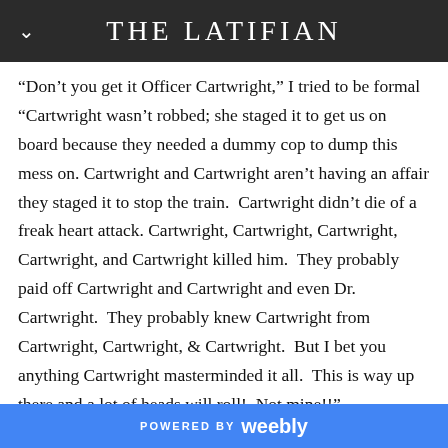THE LATIFIAN
“Don’t you get it Officer Cartwright,” I tried to be formal “Cartwright wasn’t robbed; she staged it to get us on board because they needed a dummy cop to dump this mess on. Cartwright and Cartwright aren’t having an affair they staged it to stop the train. Cartwright didn’t die of a freak heart attack. Cartwright, Cartwright, Cartwright, Cartwright, and Cartwright killed him. They probably paid off Cartwright and Cartwright and even Dr. Cartwright. They probably knew Cartwright from Cartwright, Cartwright, & Cartwright. But I bet you anything Cartwright masterminded it all. This is way up there and a lot of heads will roll! Not mine!!”
“I don’t understand.”
POWERED BY weebly